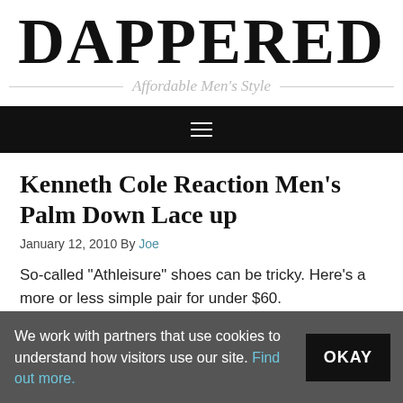DAPPERED
Affordable Men's Style
[Figure (other): Dark navigation bar with hamburger menu icon]
Kenneth Cole Reaction Men's Palm Down Lace up
January 12, 2010 By Joe
So-called “Athleisure” shoes can be tricky. Here’s a more or less simple pair for under $60.
We work with partners that use cookies to understand how visitors use our site. Find out more.